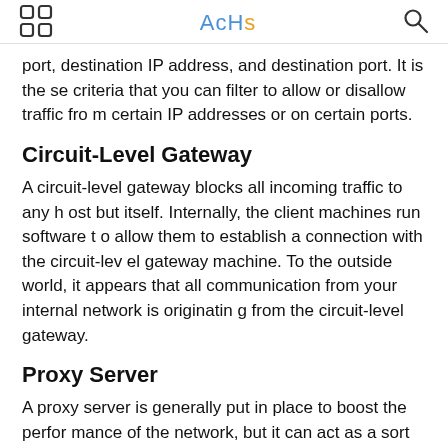AcHs
port, destination IP address, and destination port. It is these criteria that you can filter to allow or disallow traffic from certain IP addresses or on certain ports.
Circuit-Level Gateway
A circuit-level gateway blocks all incoming traffic to any host but itself. Internally, the client machines run software to allow them to establish a connection with the circuit-level gateway machine. To the outside world, it appears that all communication from your internal network is originating from the circuit-level gateway.
Proxy Server
A proxy server is generally put in place to boost the performance of the network, but it can act as a sort of firewall a